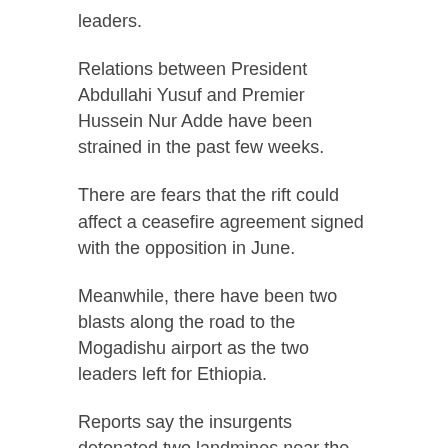leaders.
Relations between President Abdullahi Yusuf and Premier Hussein Nur Adde have been strained in the past few weeks.
There are fears that the rift could affect a ceasefire agreement signed with the opposition in June.
Meanwhile, there have been two blasts along the road to the Mogadishu airport as the two leaders left for Ethiopia.
Reports say the insurgents detonated two landmines near the convoy, and that Ethiopian-backed government troops responded by opening fire, killing five civilians.
Ethiopia helped government forces oust the Islamists in 2006 but has since become bogged down in Somalia.
Neutral figure
The BBC’s Elizabeth Blunt in Addis Ababa says Ethiopia is growing increasingly impatient with the constant feuding within the Somali government’s ranks.
The rift between the two leaders has spread to parliament, where